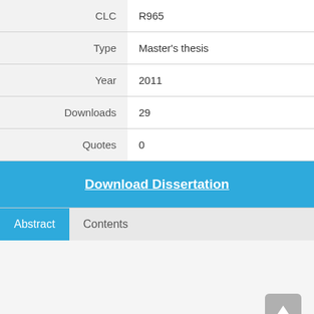| Field | Value |
| --- | --- |
| CLC | R965 |
| Type | Master's thesis |
| Year | 2011 |
| Downloads | 29 |
| Quotes | 0 |
Download Dissertation
Abstract    Contents